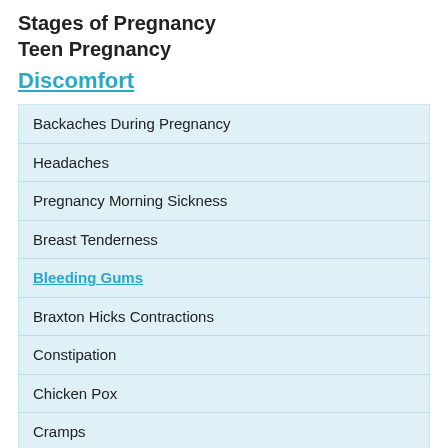Stages of Pregnancy
Teen Pregnancy
Discomfort
Backaches During Pregnancy
Headaches
Pregnancy Morning Sickness
Breast Tenderness
Bleeding Gums
Braxton Hicks Contractions
Constipation
Chicken Pox
Cramps
Indigestion and Heartburn
Itchy and Scratchy Skin
Nose Bleeds
Piles
Sleeplessness